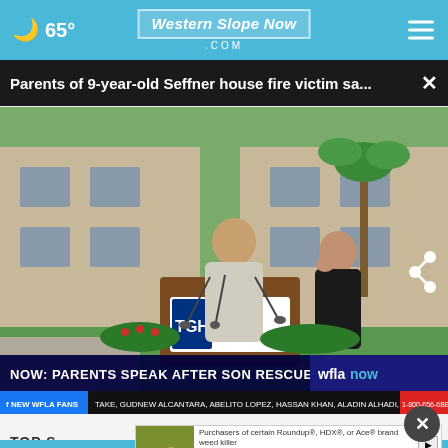🌙 65°  Western Slope Now .com
Parents of 9-year-old Seffner house fire victim sa...
[Figure (screenshot): Video screenshot of a press conference at Tampa General Hospital showing a man at a podium with TGH Tampa General Hospital signage, a woman standing to the right, microphones, with a news chyron reading 'NOW: PARENTS SPEAK AFTER SON RESCUED FROM BURNING HOME' and wflanow branding. Lower ticker shows Facebook fans ticker text.]
TOP S
[Figure (photo): Advertisement banner: Purchasers of certain Roundup®, HDX®, or Ace® brand weed killer may be eligible for a cash payment from a class action settlement. Visit www.WeedKillerAdSettlement.com to learn more.]